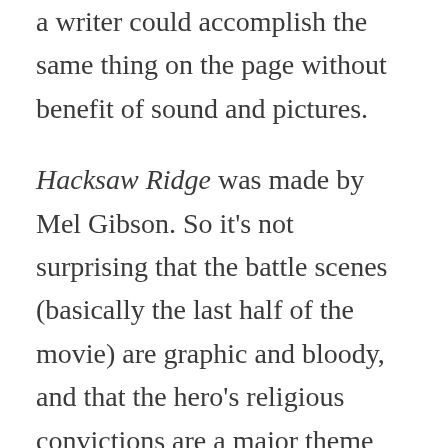a writer could accomplish the same thing on the page without benefit of sound and pictures.
Hacksaw Ridge was made by Mel Gibson. So it's not surprising that the battle scenes (basically the last half of the movie) are graphic and bloody, and that the hero's religious convictions are a major theme and motivator. It's also a true story. The real Desmond Doss died about ten years ago, and he actually saved even more soldiers than the movie